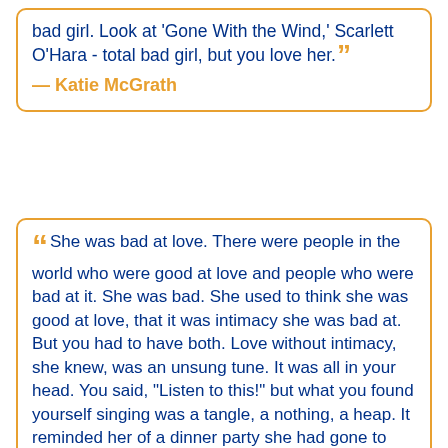bad girl. Look at 'Gone With the Wind,' Scarlett O'Hara - total bad girl, but you love her.
— Katie McGrath
She was bad at love. There were people in the world who were good at love and people who were bad at it. She was bad. She used to think she was good at love, that it was intimacy she was bad at. But you had to have both. Love without intimacy, she knew, was an unsung tune. It was all in your head. You said, "Listen to this!" but what you found yourself singing was a tangle, a nothing, a heap. It reminded her of a dinner party she had gone to once, where dessert was served on plates printed with French songs. After dinner everyone had had to sing their plate, but hers had still had whipped cream on it, and when it came her turn, she had could ld there was...she had frantically...